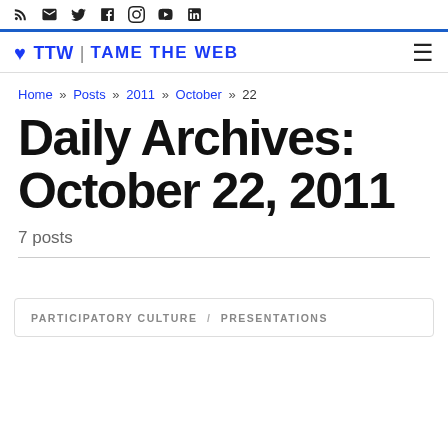TTW | TAME THE WEB (with social icons: RSS, Email, Twitter, Facebook, Instagram, YouTube, LinkedIn)
Home » Posts » 2011 » October » 22
Daily Archives: October 22, 2011
7 posts
PARTICIPATORY CULTURE / PRESENTATIONS